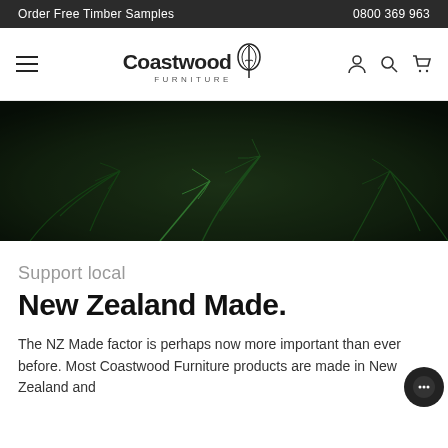Order Free Timber Samples | 0800 369 963
[Figure (logo): Coastwood Furniture logo with stylized leaf/tree icon]
[Figure (photo): Dark atmospheric photo of fern fronds in a forest setting]
Support local
New Zealand Made.
The NZ Made factor is perhaps now more important than ever before. Most Coastwood Furniture products are made in New Zealand and